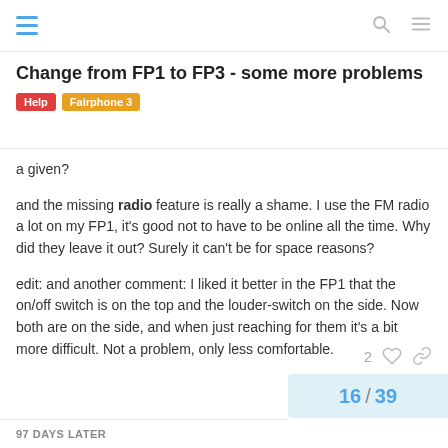Change from FP1 to FP3 - some more problems | Help | Fairphone 3
Change from FP1 to FP3 - some more problems
a given?
and the missing radio feature is really a shame. I use the FM radio a lot on my FP1, it's good not to have to be online all the time. Why did they leave it out? Surely it can't be for space reasons?
edit: and another comment: I liked it better in the FP1 that the on/off switch is on the top and the louder-switch on the side. Now both are on the side, and when just reaching for them it's a bit more difficult. Not a problem, only less comfortable.
16 / 39